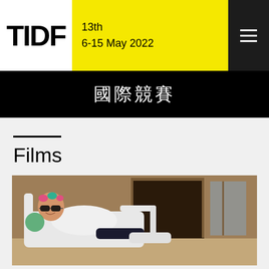TIDF 13th 6-15 May 2022
國際競賽
Films
[Figure (photo): Woman wearing sunglasses and hair rollers, reclining in a white lounge chair, smiling at camera. Indoor/outdoor patio setting with wooden doors in background.]